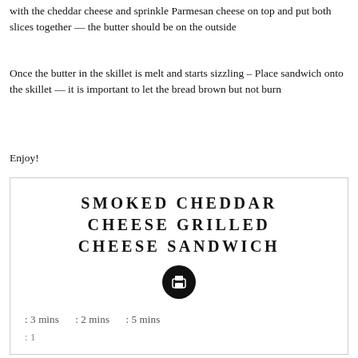with the cheddar cheese and sprinkle Parmesan cheese on top and put both slices together — the butter should be on the outside
Once the butter in the skillet is melt and starts sizzling – Place sandwich onto the skillet — it is important to let the bread brown but not burn
Enjoy!
SMOKED CHEDDAR CHEESE GRILLED CHEESE SANDWICH
: 3 mins    : 2 mins    : 5 mins
: 1